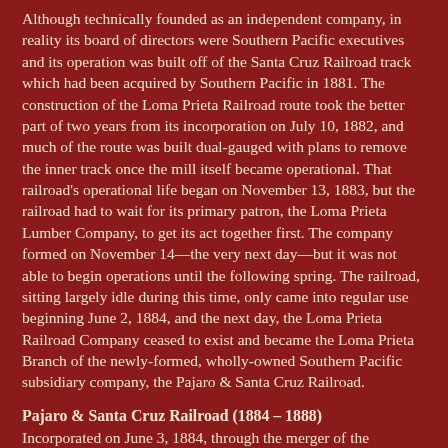Although technically founded as an independent company, in reality its board of directors were Southern Pacific executives and its operation was built off of the Santa Cruz Railroad track which had been acquired by Southern Pacific in 1881. The construction of the Loma Prieta Railroad route took the better part of two years from its incorporation on July 10, 1882, and much of the route was built dual-gauged with plans to remove the inner track once the mill itself became operational. That railroad's operational life began on November 13, 1883, but the railroad had to wait for its primary patron, the Loma Prieta Lumber Company, to get its act together first. The company formed on November 14—the very next day—but it was not able to begin operations until the following spring. The railroad, sitting largely idle during this time, only came into regular use beginning June 2, 1884, and the next day, the Loma Prieta Railroad Company ceased to exist and became the Loma Prieta Branch of the newly-formed, wholly-owned Southern Pacific subsidiary company, the Pajaro & Santa Cruz Railroad.
Pajaro & Santa Cruz Railroad (1884 – 1888)
Incorporated on June 3, 1884, through the merger of the